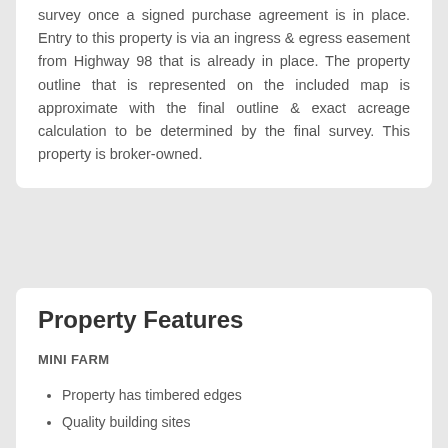survey once a signed purchase agreement is in place. Entry to this property is via an ingress & egress easement from Highway 98 that is already in place. The property outline that is represented on the included map is approximate with the final outline & exact acreage calculation to be determined by the final survey. This property is broker-owned.
Property Features
MINI FARM
Property has timbered edges
Quality building sites